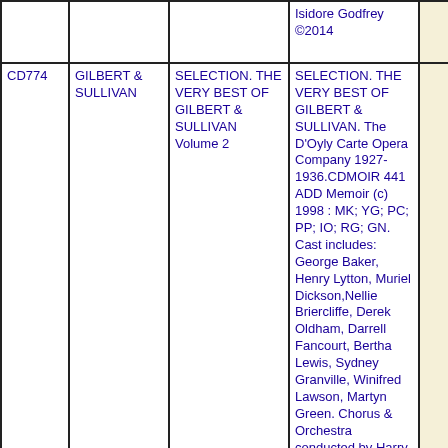| ID | Artist | Title (Short) | Description |  |
| --- | --- | --- | --- | --- |
|  |  |  | Isidore Godfrey ©2014 |  |
| CD774 | GILBERT & SULLIVAN | SELECTION. THE VERY BEST OF GILBERT & SULLIVAN Volume 2 | SELECTION. THE VERY BEST OF GILBERT & SULLIVAN. The D'Oyly Carte Opera Company 1927-1936.CDMOIR 441 ADD Memoir (c) 1998 : MK; YG; PC; PP; IO; RG; GN. Cast includes: George Baker, Henry Lytton, Muriel Dickson,Nellie Briercliffe, Derek Oldham, Darrell Fancourt, Bertha Lewis, Sydney Granville, Winifred Lawson, Martyn Green. Chorus & Orchestra conducted by Harry Norris, Malcolm Sargent and Isidore |  |